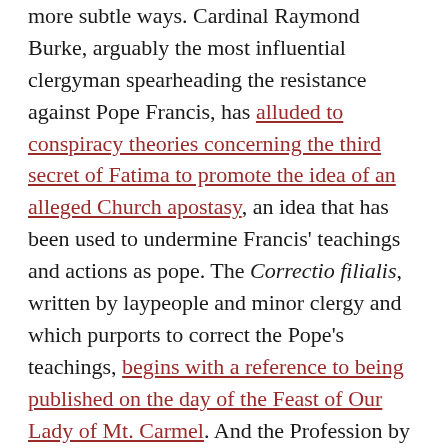more subtle ways. Cardinal Raymond Burke, arguably the most influential clergyman spearheading the resistance against Pope Francis, has alluded to conspiracy theories concerning the third secret of Fatima to promote the idea of an alleged Church apostasy, an idea that has been used to undermine Francis' teachings and actions as pope. The Correctio filialis, written by laypeople and minor clergy and which purports to correct the Pope's teachings, begins with a reference to being published on the day of the Feast of Our Lady of Mt. Carmel. And the Profession by the Kazakshtan bishops, written to counter Amoris Laetitia, also ends with a reference to being published on the Day of the Holy Family and on the centenary of the Apparitions in Fatima.
In all of these instances, the intention is clear… since the Holy Father is the Vicar of Christ, judged by no one on this earth, bringing Mary into the equation is a way to